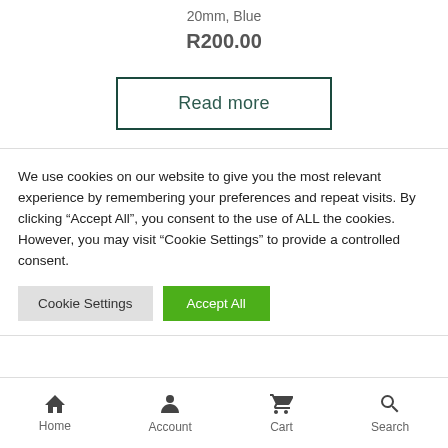20mm, Blue
R200.00
Read more
We use cookies on our website to give you the most relevant experience by remembering your preferences and repeat visits. By clicking “Accept All”, you consent to the use of ALL the cookies. However, you may visit "Cookie Settings" to provide a controlled consent.
Cookie Settings
Accept All
Home  Account  Cart  Search